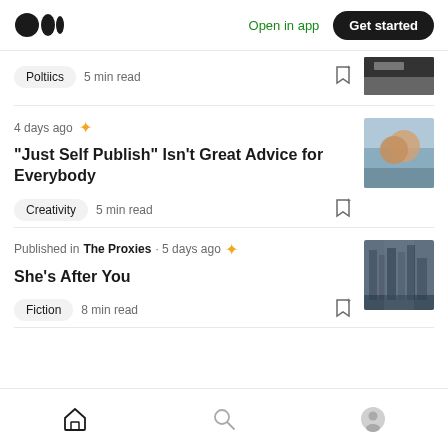Medium logo | Open in app | Get started
Poltiics · 5 min read
4 days ago ✦
“Just Self Publish” Isn’t Great Advice for Everybody
Creativity · 5 min read
Published in The Proxies · 5 days ago ✦
She’s After You
Fiction · 8 min read
Home | Search | Profile